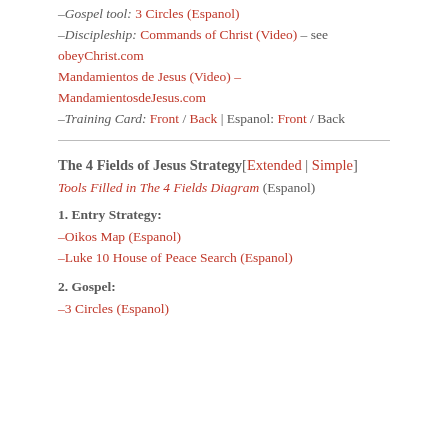–Gospel tool: 3 Circles (Espanol)
–Discipleship: Commands of Christ (Video) – see obeyChrist.com
Mandamientos de Jesus (Video) – MandamientosdeJesus.com
–Training Card: Front / Back | Espanol: Front / Back
The 4 Fields of Jesus Strategy[Extended | Simple]
Tools Filled in The 4 Fields Diagram (Espanol)
1. Entry Strategy:
–Oikos Map (Espanol)
–Luke 10 House of Peace Search (Espanol)
2. Gospel:
–3 Circles (Espanol)